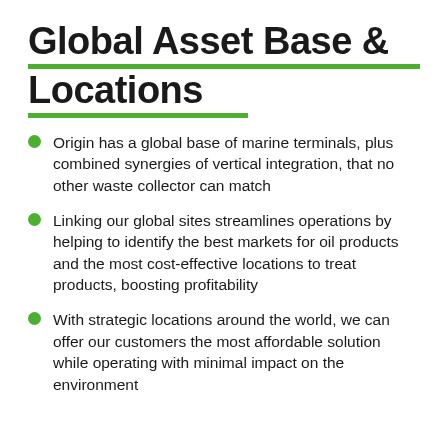Global Asset Base & Locations
Origin has a global base of marine terminals, plus combined synergies of vertical integration, that no other waste collector can match
Linking our global sites streamlines operations by helping to identify the best markets for oil products and the most cost-effective locations to treat products, boosting profitability
With strategic locations around the world, we can offer our customers the most affordable solution while operating with minimal impact on the environment